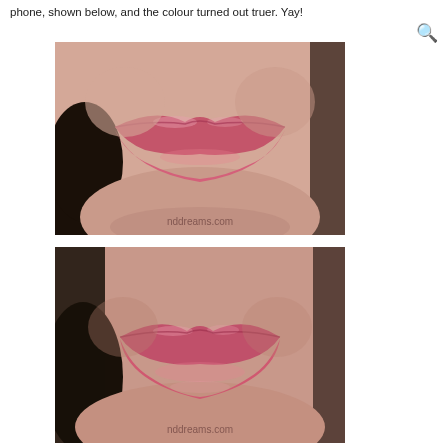phone, shown below, and the colour turned out truer. Yay!
[Figure (photo): Close-up photo of lips wearing pink-coral lipstick, top view, with watermark 'nddreams.com']
[Figure (photo): Close-up photo of lips wearing pink-coral lipstick, bottom view, with watermark 'nddreams.com']